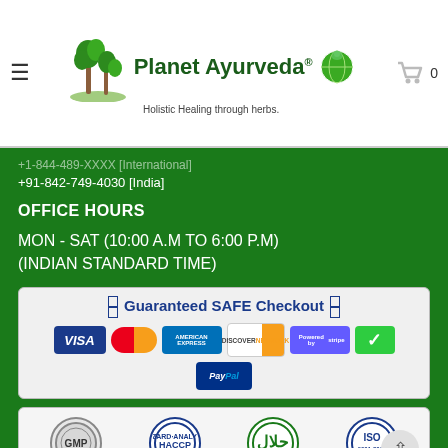[Figure (logo): Planet Ayurveda logo with palm trees and globe icon, tagline: Holistic Healing through herbs]
+91-842-749-4030 [India]
OFFICE HOURS
MON - SAT (10:00 A.M TO 6:00 P.M) (INDIAN STANDARD TIME)
[Figure (infographic): Guaranteed SAFE Checkout banner with payment method logos: VISA, MasterCard, American Express, Discover Network, Stripe, Verified, PayPal]
[Figure (infographic): Certification badges: GMP, HACCP, Halal, ISO]